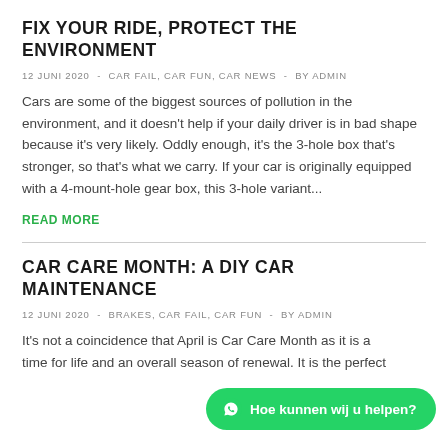FIX YOUR RIDE, PROTECT THE ENVIRONMENT
12 JUNI 2020  -  CAR FAIL, CAR FUN, CAR NEWS  -  BY ADMIN
Cars are some of the biggest sources of pollution in the environment, and it doesn't help if your daily driver is in bad shape because it's very likely. Oddly enough, it's the 3-hole box that's stronger, so that's what we carry. If your car is originally equipped with a 4-mount-hole gear box, this 3-hole variant...
READ MORE
CAR CARE MONTH: A DIY CAR MAINTENANCE
12 JUNI 2020  -  BRAKES, CAR FAIL, CAR FUN  -  BY ADMIN
It's not a coincidence that April is Car Care Month as it is a time for life and an overall season of renewal. It is the perfect
[Figure (other): WhatsApp chat button with text 'Hoe kunnen wij u helpen?']